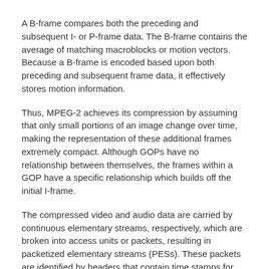A B-frame compares both the preceding and subsequent I- or P-frame data. The B-frame contains the average of matching macroblocks or motion vectors. Because a B-frame is encoded based upon both preceding and subsequent frame data, it effectively stores motion information.
Thus, MPEG-2 achieves its compression by assuming that only small portions of an image change over time, making the representation of these additional frames extremely compact. Although GOPs have no relationship between themselves, the frames within a GOP have a specific relationship which builds off the initial I-frame.
The compressed video and audio data are carried by continuous elementary streams, respectively, which are broken into access units or packets, resulting in packetized elementary streams (PESs). These packets are identified by headers that contain time stamps for synchronizing, and are used to form MPEG-2 transport streams. For digital broadcasting, multiple programs and their associated PESs are multiplexed into a single transport stream. A transport stream has PES packets further subdivided into short fixed-size data packets, in which multiple programs encoded with different clocks can be carried. A transport stream not only comprises a multiplex of audio and video PESs, but also other data such as MPEG-2 program specific information (sometimes referred to as metadata) describing the transport stream. The MPEG-2 metadata may include a